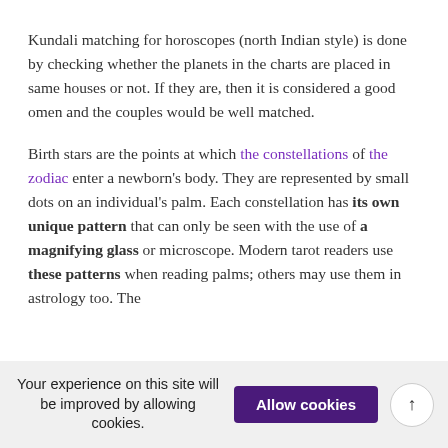Kundali matching for horoscopes (north Indian style) is done by checking whether the planets in the charts are placed in same houses or not. If they are, then it is considered a good omen and the couples would be well matched.
Birth stars are the points at which the constellations of the zodiac enter a newborn's body. They are represented by small dots on an individual's palm. Each constellation has its own unique pattern that can only be seen with the use of a magnifying glass or microscope. Modern tarot readers use these patterns when reading palms; others may use them in astrology too. The
Your experience on this site will be improved by allowing cookies. Allow cookies